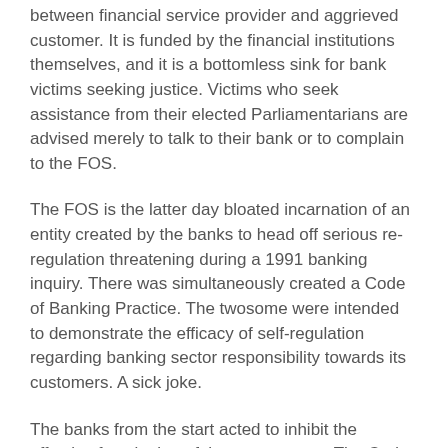between financial service provider and aggrieved customer. It is funded by the financial institutions themselves, and it is a bottomless sink for bank victims seeking justice. Victims who seek assistance from their elected Parliamentarians are advised merely to talk to their bank or to complain to the FOS.
The FOS is the latter day bloated incarnation of an entity created by the banks to head off serious re-regulation threatening during a 1991 banking inquiry. There was simultaneously created a Code of Banking Practice. The twosome were intended to demonstrate the efficacy of self-regulation regarding banking sector responsibility towards its customers. A sick joke.
The banks from the start acted to inhibit the effective functioning of these structures. The Code, now 72 pages long, is universally honoured in the breach (although it is inserted in borrower contracts), and the courts won't go near it.
A Senate Parliamentary Committee ‘Post-GFC Banking